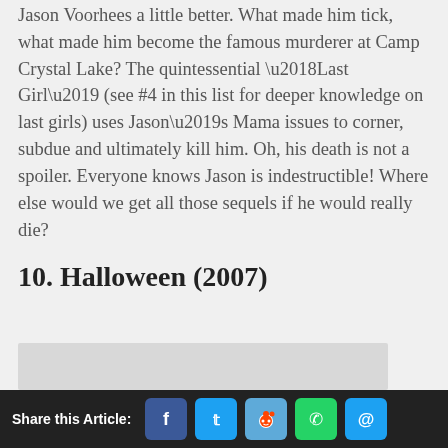Jason Voorhees a little better. What made him tick, what made him become the famous murderer at Camp Crystal Lake? The quintessential ‘Last Girl’ (see #4 in this list for deeper knowledge on last girls) uses Jason’s Mama issues to corner, subdue and ultimately kill him. Oh, his death is not a spoiler. Everyone knows Jason is indestructible! Where else would we get all those sequels if he would really die?
10. Halloween (2007)
[Figure (photo): Partial image visible at bottom of page content area, gray placeholder visible]
Share this Article: [Facebook] [Twitter] [Reddit] [WhatsApp] [Email]